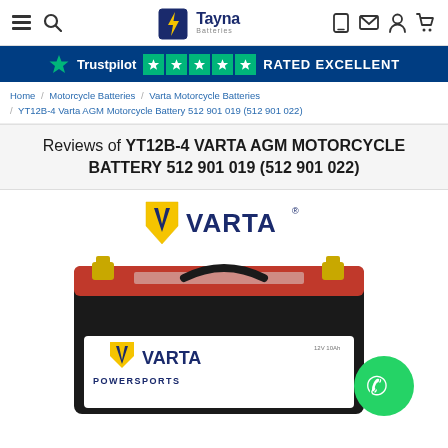Tayna Batteries navigation bar with menu, search, logo, mobile, email, account, cart icons
Trustpilot ★★★★★ RATED EXCELLENT
Home / Motorcycle Batteries / Varta Motorcycle Batteries / YT12B-4 Varta AGM Motorcycle Battery 512 901 019 (512 901 022)
Reviews of YT12B-4 VARTA AGM MOTORCYCLE BATTERY 512 901 019 (512 901 022)
[Figure (logo): VARTA logo with yellow shield and blue text]
[Figure (photo): Varta Powersports AGM motorcycle battery YT12B-4, black casing with red top and gold terminals, VARTA logo on front. WhatsApp chat button in bottom right corner.]